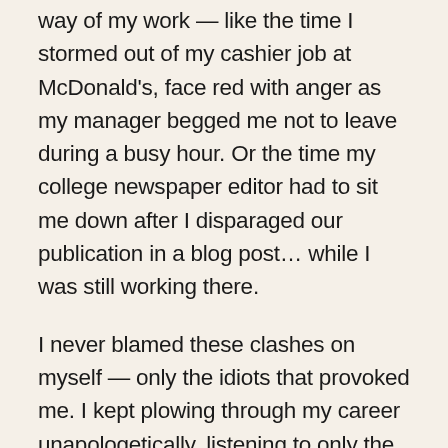way of my work — like the time I stormed out of my cashier job at McDonald's, face red with anger as my manager begged me not to leave during a busy hour. Or the time my college newspaper editor had to sit me down after I disparaged our publication in a blog post… while I was still working there.
I never blamed these clashes on myself — only the idiots that provoked me. I kept plowing through my career unapologetically, listening to only the people I wanted to — friends who nodded along to my rants eagerly, my parents who encouraged me to quit my first well-paying job during drama, and my boyfriend, who commiserated with me as if he were going through the same workplace bullshit. I knew subconsciously I was wrong. I knew I had a problem with professionalism. But I needed some